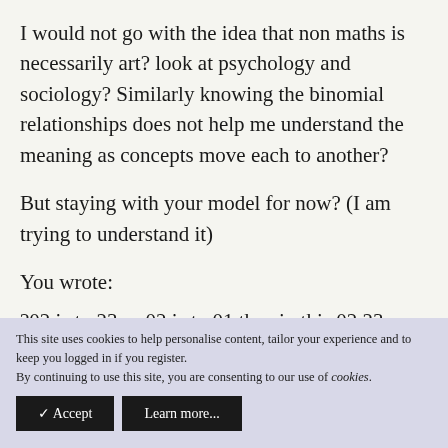I would not go with the idea that non maths is necessarily art? look at psychology and sociology? Similarly knowing the binomial relationships does not help me understand the meaning as concepts move each to another?
But staying with your model for now? (I am trying to understand it)
You wrote:
?02 is to 23 as 02 is to 01 thus in this 02,23 pairing, the relationship of 02 is integrating and 23 of
This site uses cookies to help personalise content, tailor your experience and to keep you logged in if you register.
By continuing to use this site, you are consenting to our use of cookies.